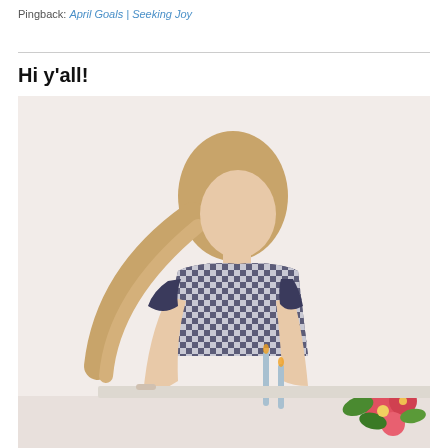Pingback: April Goals | Seeking Joy
Hi y'all!
[Figure (photo): A woman with long blonde hair wearing a navy and white gingham dress leans over a table, looking down. There are candles and flowers (red/pink with greenery) on the table. The background is a soft blush/light pink wall.]